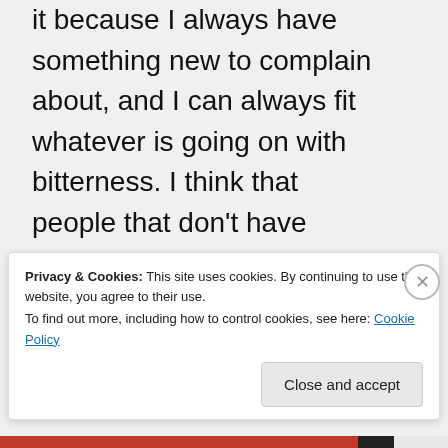it because I always have something new to complain about, and I can always fit whatever is going on with bitterness. I think that people that don't have something they are passionate about tend to fall off blogging pretty quickly.
★ Like
Privacy & Cookies: This site uses cookies. By continuing to use this website, you agree to their use. To find out more, including how to control cookies, see here: Cookie Policy
Close and accept